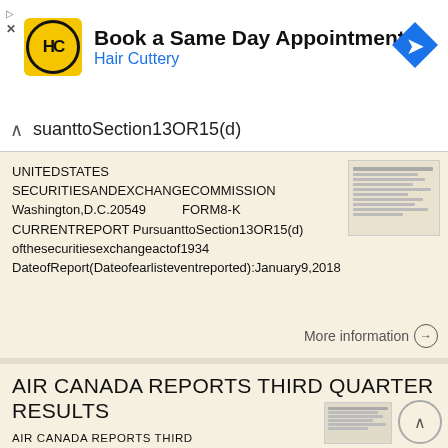[Figure (screenshot): Hair Cuttery advertisement banner with logo, 'Book a Same Day Appointment', and navigation arrow icon]
suanttoSection13OR15(d)
UNITEDSTATES SECURITIESANDEXCHANGECOMMISSION Washington,D.C.20549 FORM8-K CURRENTREPORT PursuanttoSection13OR15(d) ofthesecuritiesexchangeactof1934 DateofReport(Dateofearlisteventreported):January9,2018
More information →
AIR CANADA REPORTS THIRD QUARTER RESULTS
AIR CANADA REPORTS THIRD QUARTER RESULTS - THIRD QUARTER OVERVIEW